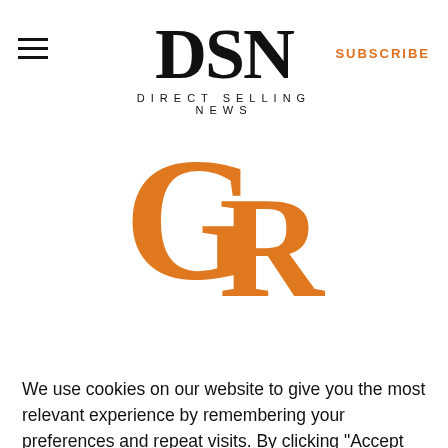DSN DIRECT SELLING NEWS
SUBSCRIBE
[Figure (logo): GR (Groupe Rocher) orange stylized logo with large G and R letters]
GROUPE ROCHER
We use cookies on our website to give you the most relevant experience by remembering your preferences and repeat visits. By clicking “Accept All”, you consent to the use of ALL the cookies. However, you may visit "Cookie Settings" to provide a controlled consent.
Cookie Settings   Accept All